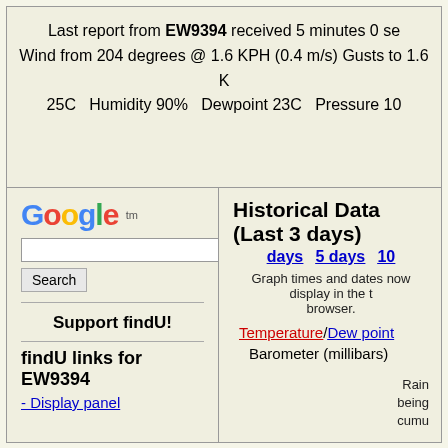Last report from EW9394 received 5 minutes 0 se... Wind from 204 degrees @ 1.6 KPH (0.4 m/s) Gusts to 1.6 K... 25C  Humidity 90%  Dewpoint 23C  Pressure 10...
[Figure (logo): Google logo with trademark symbol]
Search
Support findU!
findU links for EW9394
- Display panel
Historical Data (Last 3 days)
days    5 days    10...
Graph times and dates now display in the t... browser.
Temperature/Dew point
Barometer (millibars)
Rain being cumu...
Solar Illumina...